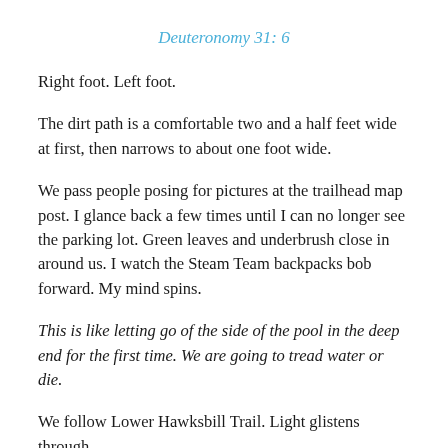Deuteronomy 31: 6
Right foot. Left foot.
The dirt path is a comfortable two and a half feet wide at first, then narrows to about one foot wide.
We pass people posing for pictures at the trailhead map post. I glance back a few times until I can no longer see the parking lot. Green leaves and underbrush close in around us. I watch the Steam Team backpacks bob forward. My mind spins.
This is like letting go of the side of the pool in the deep end for the first time. We are going to tread water or die.
We follow Lower Hawksbill Trail. Light glistens through